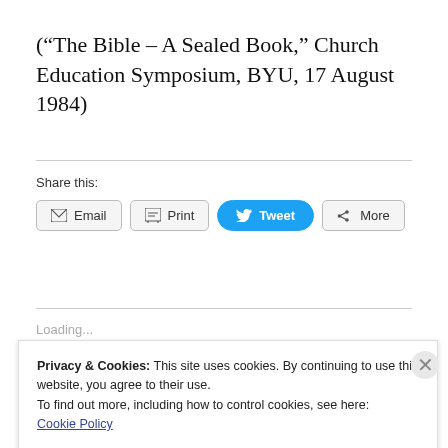("The Bible – A Sealed Book," Church Education Symposium, BYU, 17 August 1984)
Share this:
[Figure (screenshot): Share buttons row: Email, Print, Tweet, More]
Loading...
Privacy & Cookies: This site uses cookies. By continuing to use this website, you agree to their use.
To find out more, including how to control cookies, see here:
Cookie Policy
Close and accept